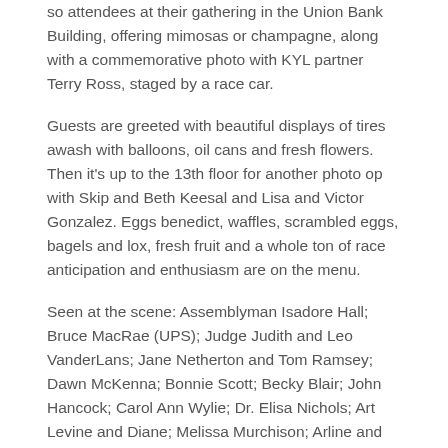so attendees at their gathering in the Union Bank Building, offering mimosas or champagne, along with a commemorative photo with KYL partner Terry Ross, staged by a race car.
Guests are greeted with beautiful displays of tires awash with balloons, oil cans and fresh flowers. Then it's up to the 13th floor for another photo op with Skip and Beth Keesal and Lisa and Victor Gonzalez. Eggs benedict, waffles, scrambled eggs, bagels and lox, fresh fruit and a whole ton of race anticipation and enthusiasm are on the menu.
Seen at the scene: Assemblyman Isadore Hall; Bruce MacRae (UPS); Judge Judith and Leo VanderLans; Jane Netherton and Tom Ramsey; Dawn McKenna; Bonnie Scott; Becky Blair; John Hancock; Carol Ann Wylie; Dr. Elisa Nichols; Art Levine and Diane; Melissa Murchison; Arline and Mike Walters; David Tong; Sarah Sangmeister; and